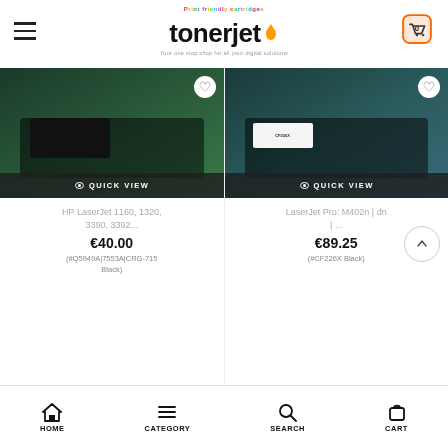TonerJet - Your one stop shop for all your digital solutions
[Figure (screenshot): Product image of HP LaserJet toner cartridge with QUICK VIEW overlay button]
HP LaserJet 1160, 1320, 3390, 3392...
€40.00
(#Q5949A|7553A|CRG-715 Black)
[Figure (screenshot): Product image of HP LaserJet Pro M402 toner cartridge with QUICK VIEW overlay button]
LaserJet Pro: M402n | dn | ...
€89.25
(#CF226X Black)
HOME  CATEGORY  SEARCH  CART